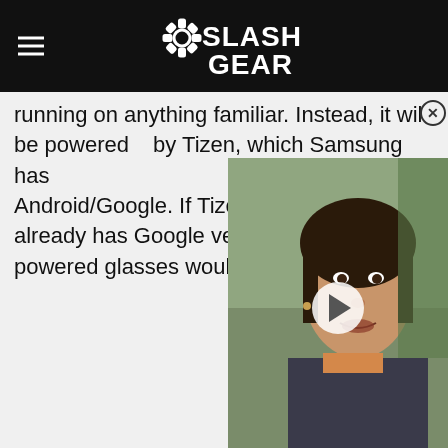SlashGear
running on anything familiar. Instead, it will be powered by Tizen, which Samsung has Android/Google. If Tizen-pow already has Google venting, in powered glasses would do.
[Figure (photo): Video thumbnail showing a woman speaking outdoors, with a play button overlay]